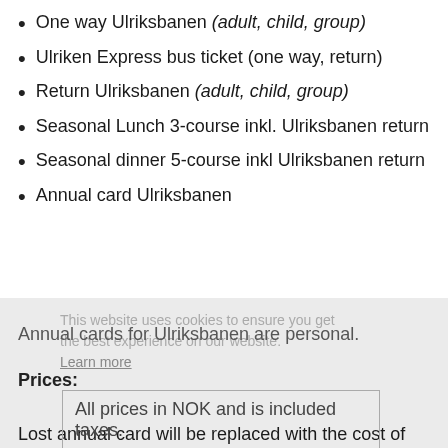One way Ulriksbanen (adult, child, group)
Ulriken Express bus ticket (one way, return)
Return Ulriksbanen (adult, child, group)
Seasonal Lunch 3-course inkl. Ulriksbanen return
Seasonal dinner 5-course inkl Ulriksbanen return
Annual card Ulriksbanen
Annual cards for Ulriksbanen are personal.
This website uses cookies to ensure you get the best experience on our website. Learn more
Prices:
All prices in NOK and is included taxes.
Lost annual card will be replaced with the cost of